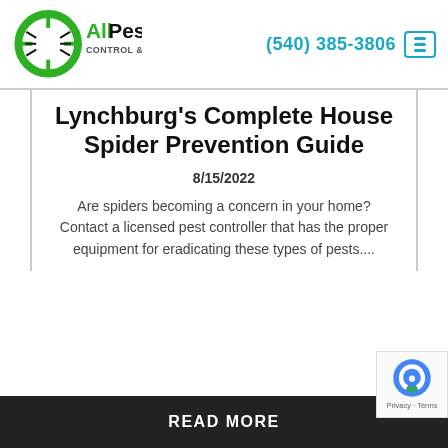AllPest Control & Solutions | (540) 385-3806
Lynchburg's Complete House Spider Prevention Guide
8/15/2022
Are spiders becoming a concern in your home? Contact a licensed pest controller that has the proper equipment for eradicating these types of pests....
READ MORE